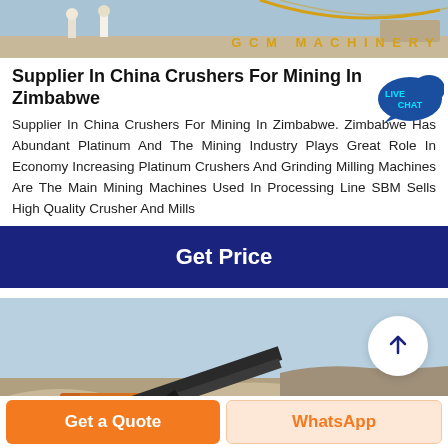[Figure (photo): Top image showing construction/mining site with workers and GCM Machinery branding]
Supplier In China Crushers For Mining In Zimbabwe
Supplier In China Crushers For Mining In Zimbabwe. Zimbabwe Has Abundant Platinum And The Mining Industry Plays Great Role In Economy Increasing Platinum Crushers And Grinding Milling Machines Are The Main Mining Machines Used In Processing Line SBM Sells High Quality Crusher And Mills
Get Price
[Figure (photo): Photo of mining crusher equipment at an open-pit mining site with a back-to-top arrow button overlay]